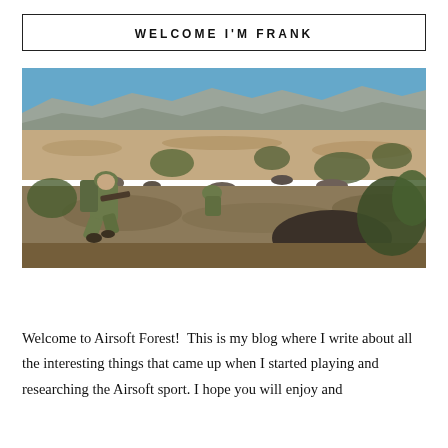WELCOME I'M FRANK
[Figure (photo): Soldiers in military gear crouching on rocky desert terrain with scrub brush, aiming weapons. Arid mountain landscape in background under blue sky.]
Welcome to Airsoft Forest!  This is my blog where I write about all the interesting things that came up when I started playing and researching the Airsoft sport. I hope you will enjoy and